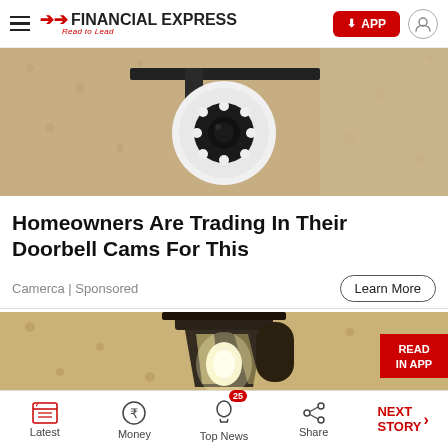Financial Express — Read to Lead | APP button | User icon
[Figure (photo): Security camera mounted on a wall bracket, white camera with LED ring facing forward, against a textured beige wall]
Homeowners Are Trading In Their Doorbell Cams For This
Camerca | Sponsored
[Figure (photo): Outdoor wall lantern lamp with a glowing white bulb inside a dark metal casing, against a textured stone wall, with a red 'READ IN APP' badge overlay]
Latest | Money | Top News (25) | Share | NEXT STORY